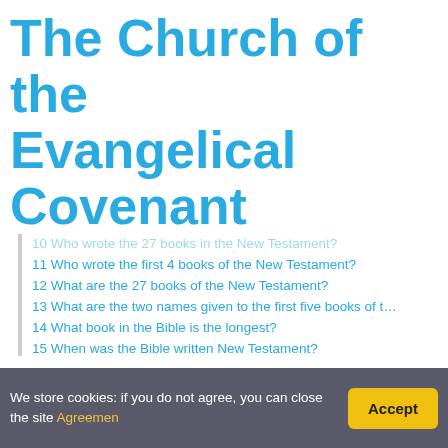The Church of the Evangelical Covenant
10 Who wrote the 27 books in the New Testament?
11 Who wrote the first 4 books of the New Testament?
12 What are the 27 books of the New Testament?
13 What are the two names given to the first five books of t…
14 What book in the Bible is the longest?
15 When was the Bible written New Testament?
Which book of the New Testament was w…
The first New Testament books to be written down are m…
We store cookies: if you do not agree, you can close the site Agreemen
Accept